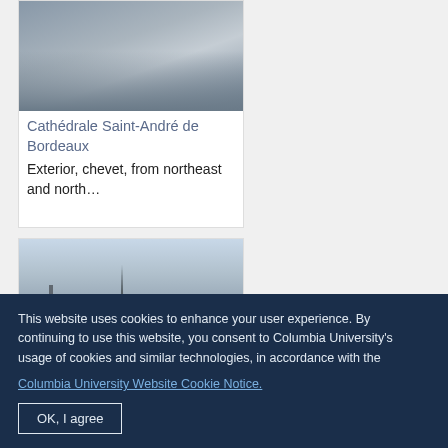[Figure (photo): Cathedral exterior photo showing Gothic architecture facade]
Cathédrale Saint-André de Bordeaux
Exterior, chevet, from northeast and north...
[Figure (photo): Cathedral exterior photo showing spires and tower from a distance]
This website uses cookies to enhance your user experience. By continuing to use this website, you consent to Columbia University's usage of cookies and similar technologies, in accordance with the
Columbia University Website Cookie Notice.
OK, I agree